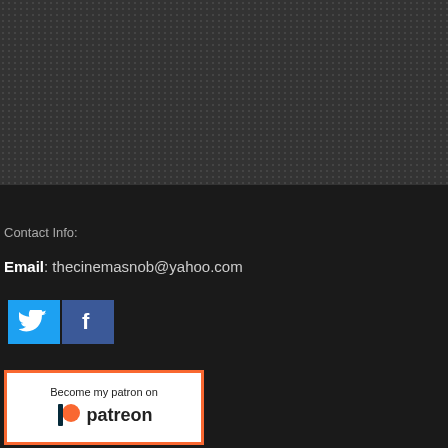[Figure (other): Dark textured/dotted background area filling the top portion of the page]
Contact Info:
Email: thecinemasnob@yahoo.com
[Figure (other): Twitter and Facebook social media icon buttons side by side]
[Figure (other): Patreon banner with orange border reading 'Become my patron on patreon' with Patreon logo]